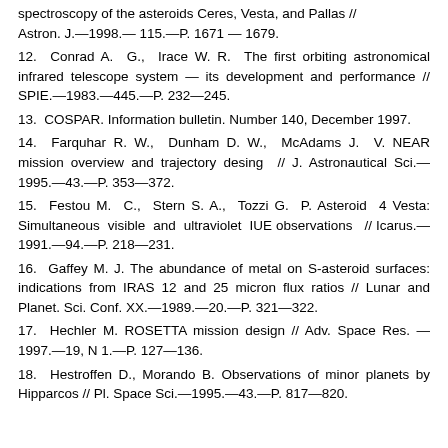spectroscopy of the asteroids Ceres, Vesta, and Pallas // Astron. J.—1998.— 115.—P. 1671 — 1679.
12.  Conrad A.  G.,  Irace W. R.  The first orbiting astronomical infrared telescope system — its development and performance // SPIE.—1983.—445.—P. 232—245.
13.  COSPAR. Information bulletin. Number 140, December 1997.
14.  Farquhar R. W.,  Dunham D. W.,  McAdams J.  V. NEAR mission overview and trajectory desing  //  J. Astronautical Sci.—1995.—43.—P. 353—372.
15.  Festou M.  C.,  Stern  S. A.,  Tozzi  G.  P.  Asteroid  4 Vesta: Simultaneous  visible  and  ultraviolet  IUE observations   // Icarus.—1991.—94.—P. 218—231.
16.  Gaffey M. J. The abundance of metal on S-asteroid surfaces: indications from IRAS 12 and 25 micron flux ratios // Lunar and Planet. Sci. Conf. XX.—1989.—20.—P. 321—322.
17.  Hechler M. ROSETTA mission design // Adv. Space Res. — 1997.—19, N 1.—P. 127—136.
18.  Hestroffen D., Morando B. Observations of minor planets by Hipparcos // Pl. Space Sci.—1995.—43.—P. 817—820.